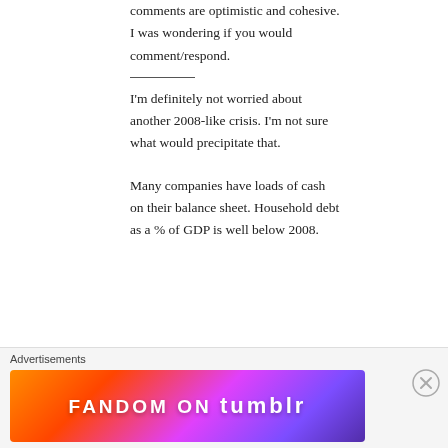comments are optimistic and cohesive. I was wondering if you would comment/respond.
I'm definitely not worried about another 2008-like crisis. I'm not sure what would precipitate that.
Many companies have loads of cash on their balance sheet. Household debt as a % of GDP is well below 2008.
Advertisements
[Figure (illustration): Fandom on Tumblr advertisement banner with colorful gradient background (orange to purple) and white bold text reading FANDOM ON tumblr]